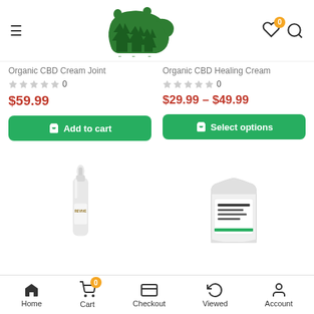Bare Roots Rx – Navigation Header
Organic CBD Cream Joint
0 stars (0 reviews) $59.99
Add to cart
Organic CBD Healing Cream
0 stars (0 reviews) $29.99 – $49.99
Select options
[Figure (photo): Product image: small dropper bottle labeled REVIVE]
[Figure (photo): Product image: white pouch/bag with label]
Home | Cart 0 | Checkout | Viewed | Account